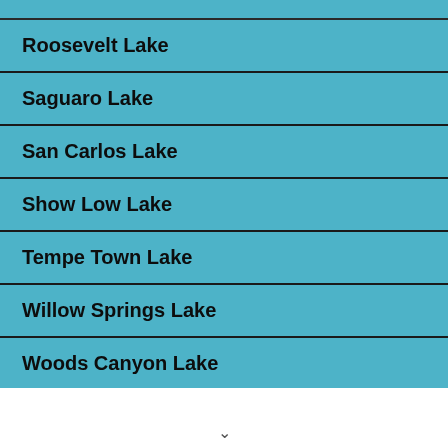Roosevelt Lake
Saguaro Lake
San Carlos Lake
Show Low Lake
Tempe Town Lake
Willow Springs Lake
Woods Canyon Lake
Top AZ Lake Marinas